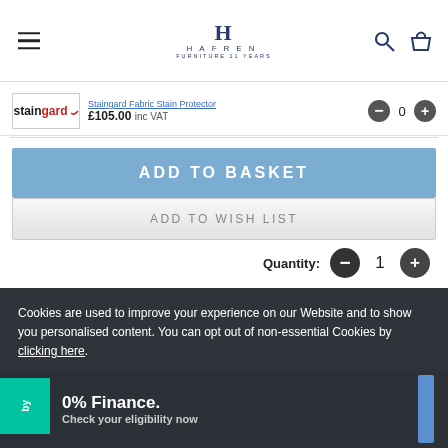HAFREN
Staingard Fabric Stain Protector £105.00 inc VAT — quantity: 0
ADD TO BASKET
ADD TO WISH LIST
Quantity: 1
Cookies are used to improve your experience on our Website and to show you personalised content. You can opt out of non-essential Cookies by clicking here.
Product Description
0% Finance. Check your eligibility now